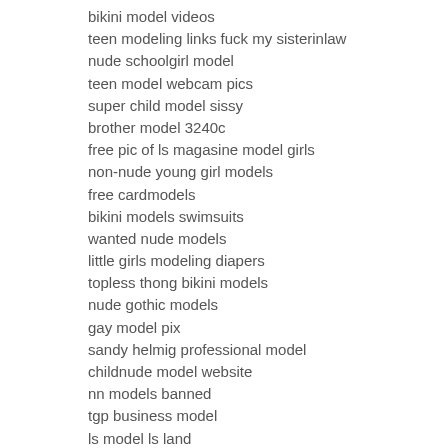bikini model videos
teen modeling links fuck my sisterinlaw
nude schoolgirl model
teen model webcam pics
super child model sissy
brother model 3240c
free pic of ls magasine model girls
non-nude young girl models
free cardmodels
bikini models swimsuits
wanted nude models
little girls modeling diapers
topless thong bikini models
nude gothic models
gay model pix
sandy helmig professional model
childnude model website
nn models banned
tgp business model
ls model ls land
supermodels nude pictures
dark forum bbs vlad model
child modeling panties
xxx model galleries
best film hardcore indian model year